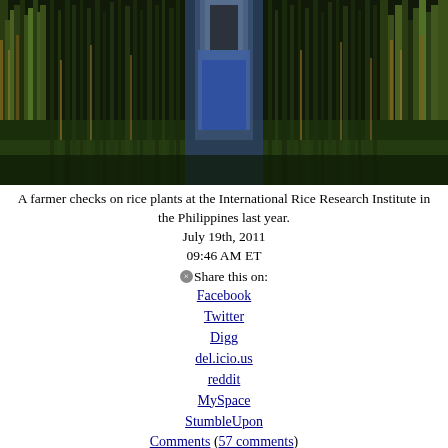[Figure (photo): A farmer in blue clothing standing among tall rice plants at a rice field, photographed at the International Rice Research Institute in the Philippines.]
A farmer checks on rice plants at the International Rice Research Institute in the Philippines last year.
July 19th, 2011
09:46 AM ET
⊗Share this on:
Facebook
Twitter
Digg
del.icio.us
reddit
MySpace
StumbleUpon
Comments (57 comments)
Report: Genetic breakthrough could